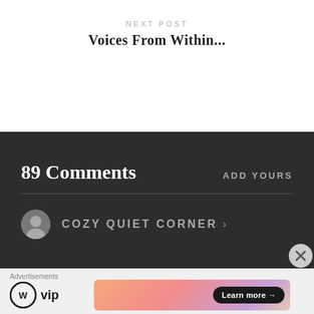NEXT POST
Voices From Within...
89 Comments
ADD YOURS
COZY QUIET CORNER...
Advertisements
[Figure (logo): WordPress VIP logo with WP circle icon and 'vip' text]
[Figure (infographic): Ad banner with gradient background (peach to purple) and a 'Learn more →' button]